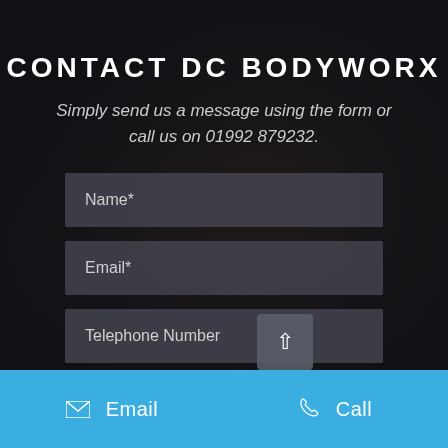CONTACT DC BODYWORX
Simply send us a message using the form or call us on 01992 879232.
Name*
Email*
Telephone Number
Email
Call